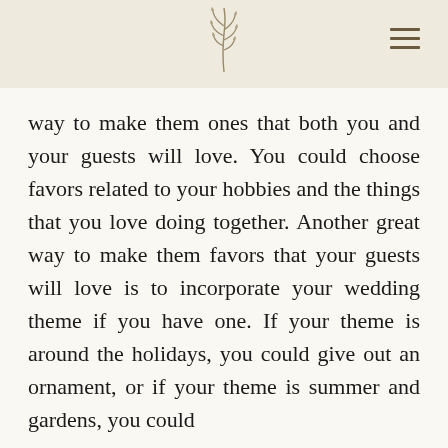[Figure (logo): Botanical wheat/grass sprig logo centered in header]
way to make them ones that both you and your guests will love. You could choose favors related to your hobbies and the things that you love doing together. Another great way to make them favors that your guests will love is to incorporate your wedding theme if you have one. If your theme is around the holidays, you could give out an ornament, or if your theme is summer and gardens, you could